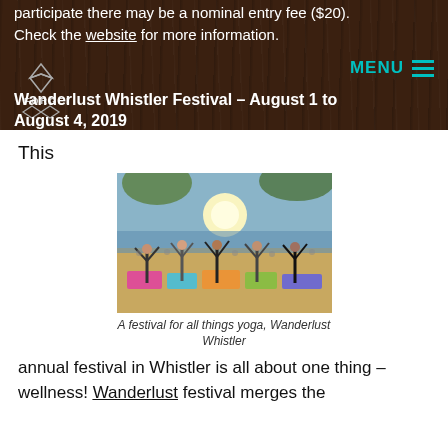participate there may be a nominal entry fee ($20). Check the website for more information.
Wanderlust Whistler Festival – August 1 to August 4, 2019
This
[Figure (photo): Outdoor yoga session with large crowd of people doing yoga poses with arms raised, bright sun shining through trees, colorful yoga mats on ground, lake in background. Wanderlust Whistler festival.]
A festival for all things yoga, Wanderlust Whistler
annual festival in Whistler is all about one thing – wellness! Wanderlust festival merges the